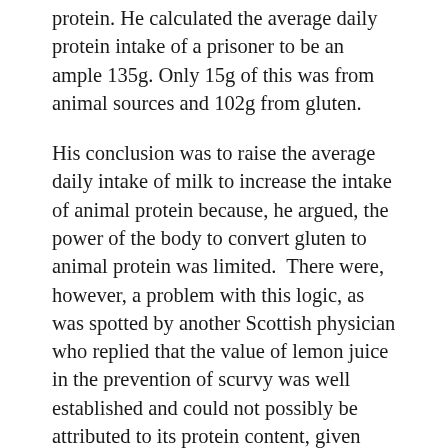protein. He calculated the average daily protein intake of a prisoner to be an ample 135g. Only 15g of this was from animal sources and 102g from gluten.
His conclusion was to raise the average daily intake of milk to increase the intake of animal protein because, he argued, the power of the body to convert gluten to animal protein was limited.  There were, however, a problem with this logic, as was spotted by another Scottish physician who replied that the value of lemon juice in the prevention of scurvy was well established and could not possibly be attributed to its protein content, given that a curative dose contained only a negligible amount of